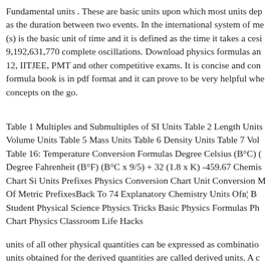Fundamental units . These are basic units upon which most units dep as the duration between two events. In the international system of me (s) is the basic unit of time and it is defined as the time it takes a cesi 9,192,631,770 complete oscillations. Download physics formulas and 12, IITJEE, PMT and other competitive exams. It is concise and con formula book is in pdf format and it can prove to be very helpful whe concepts on the go.
Table 1 Multiples and Submultiples of SI Units Table 2 Length Units Volume Units Table 5 Mass Units Table 6 Density Units Table 7 Vol Table 16: Temperature Conversion Formulas Degree Celsius (B°C) ( Degree Fahrenheit (B°F) (B°C x 9/5) + 32 (1.8 x K) -459.67 Chemi Chart Si Units Prefixes Physics Conversion Chart Unit Conversion M Of Metric PrefixesBack To 74 Explanatory Chemistry Units Ofв ¦ B Student Physical Science Physics Tricks Basic Physics Formulas Ph Chart Physics Classroom Life Hacks
units of all other physical quantities can be expressed as combinatio units obtained for the derived quantities are called derived units. A c